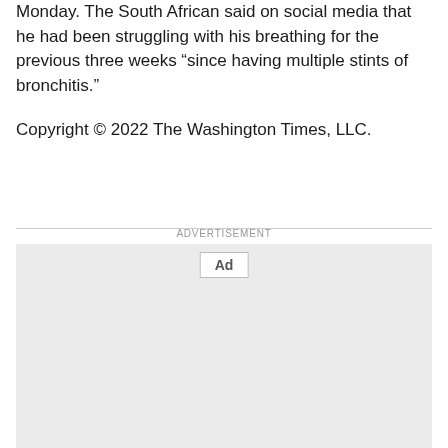Monday. The South African said on social media that he had been struggling with his breathing for the previous three weeks “since having multiple stints of bronchitis.”
Copyright © 2022 The Washington Times, LLC.
[Figure (other): Advertisement placeholder box with 'Ad' label button and 'ADVERTISEMENT' text above a horizontal rule.]